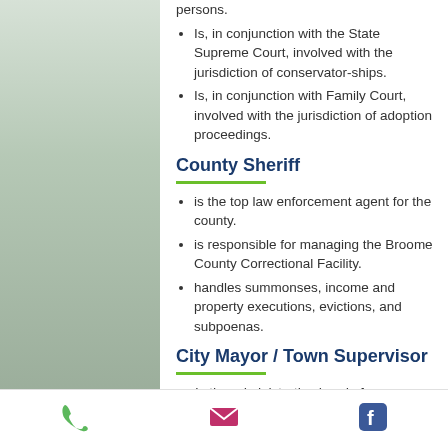Is, in conjunction with the State Supreme Court, involved with the jurisdiction of conservator-ships.
Is, in conjunction with Family Court, involved with the jurisdiction of adoption proceedings.
County Sheriff
is the top law enforcement agent for the county.
is responsible for managing the Broome County Correctional Facility.
handles summonses, income and property executions, evictions, and subpoenas.
City Mayor / Town Supervisor
Is the administrative head of